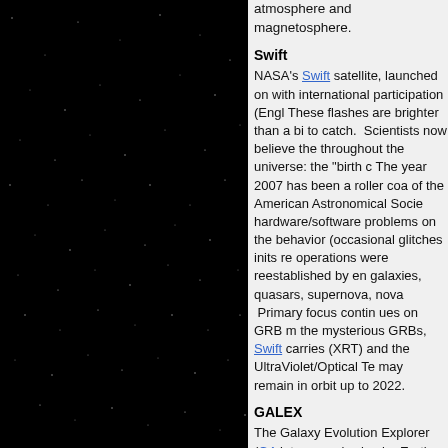[Figure (photo): Starfield image on black background, showing a dark night sky with scattered faint stars]
atmosphere and magnetosphere.
Swift
NASA's Swift satellite, launched on with international participation (Engl These flashes are brighter than a bi to catch. Scientists now believe the throughout the universe: the "birth c The year 2007 has been a roller coa of the American Astronomical Socie hardware/software problems on the behavior (occasional glitches inits re operations were reestablished by en galaxies, quasars, supernova, nova Primary focus contin ues on GRB m the mysterious GRBs, Swift carries (XRT) and the UltraViolet/Optical Te may remain in orbit up to 2022.
GALEX
The Galaxy Evolution Explorer (GA into a nearly circular Earth orbit, is a ultraviolet (UV) light across 10 billio basic design similar to the Hubble S view - like a grain of sand held at ar requires a large field of view, rather
In 2007, at end-April, GALEX celeb Ultraviolet (UV) images included "si golden glow, representing a "senior